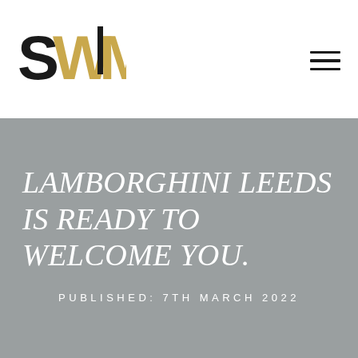[Figure (logo): SWM logo: bold black 'S', gold stylized 'W' with an overlapping 'M' in gold and black, forming the letters SWM]
SWM logo and hamburger menu icon
LAMBORGHINI LEEDS IS READY TO WELCOME YOU.
PUBLISHED: 7TH MARCH 2022